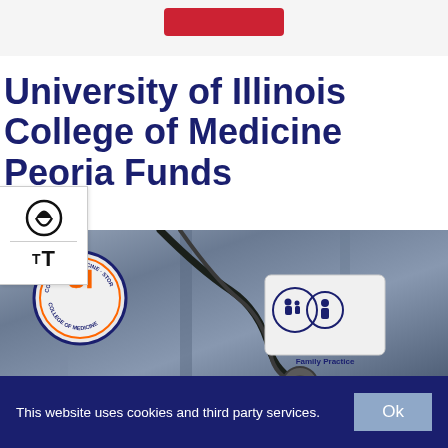[Figure (other): Red button at top of page on light gray background]
University of Illinois College of Medicine Peoria Funds
[Figure (photo): Photo of medical white coat with University of Illinois College of Medicine Peoria logo badge and a Family Practice badge, with a stethoscope visible]
This website uses cookies and third party services.